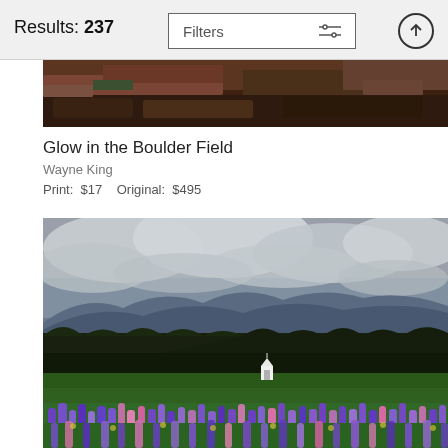Results: 237
[Figure (photo): Partial view of a nature photograph showing dark reddish-brown foliage and rocks — top portion of 'Glow in the Boulder Field']
Glow in the Boulder Field
Wayne King
Print:  $17    Original:  $495
[Figure (photo): Landscape photograph featuring purple and pink lupine wildflowers in the foreground, a green meadow with a small white church, dark treeline, blue mountains, and dramatic cloudy sky in the background.]